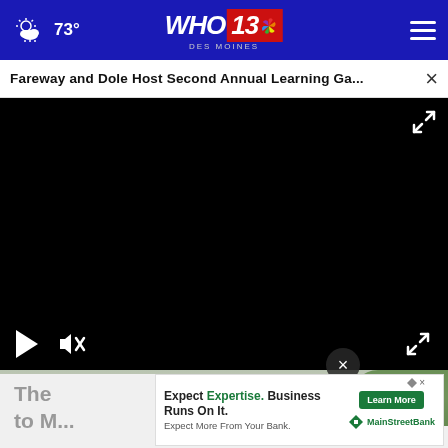WHO 13 Des Moines — 73°
Fareway and Dole Host Second Annual Learning Ga...
[Figure (screenshot): Black video player area with play button, mute button (crossed speaker icon), and fullscreen expand icon in controls. Video content is not visible (black screen).]
[Figure (photo): Partial image of a hummingbird feeder with red base, surrounded by greenery.]
The ... to M...
[Figure (screenshot): Advertisement overlay: 'Expect Expertise. Business Runs On It. Expect More From Your Bank.' with Learn More button and MainStreetBank logo.]